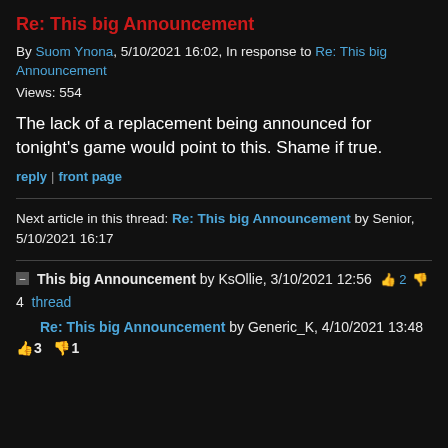Re: This big Announcement
By Suom Ynona, 5/10/2021 16:02, In response to Re: This big Announcement
Views: 554
The lack of a replacement being announced for tonight's game would point to this. Shame if true.
reply | front page
Next article in this thread: Re: This big Announcement by Senior, 5/10/2021 16:17
▪ This big Announcement by KsOllie, 3/10/2021 12:56 👍 2 👎 4 thread
Re: This big Announcement by Generic_K, 4/10/2021 13:48 👍 3 👎 1